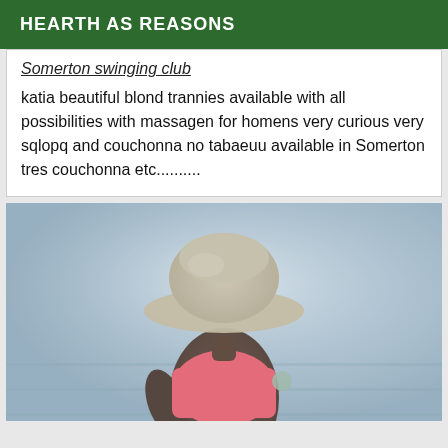HEARTH AS REASONS
Somerton swinging club
katia beautiful blond trannies available with all possibilities with massagen for homens very curious very sqlopq and couchonna no tabaeuu available in Somerton tres couchonna etc..........
[Figure (photo): A person wearing a wide-brimmed hat and a pink/orange top, photographed in a dim, hazy environment with bluish-grey background.]